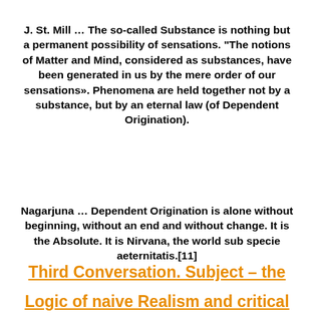J. St. Mill … The so-called Substance is nothing but a permanent possibility of sensations. "The notions of Matter and Mind, considered as substances, have been generated in us by the mere order of our sensations». Phenomena are held together not by a substance, but by an eternal law (of Dependent Origination).
Nagarjuna … Dependent Origination is alone without beginning, without an end and without change. It is the Absolute. It is Nirvana, the world sub specie aeternitatis.[11]
Third Conversation. Subject – the Logic of naive Realism and critical